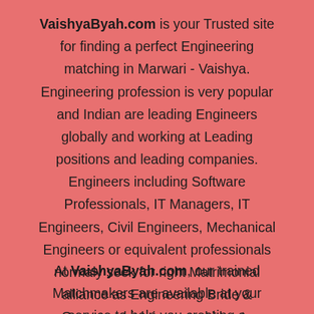VaishyaByah.com is your Trusted site for finding a perfect Engineering matching in Marwari - Vaishya. Engineering profession is very popular and Indian are leading Engineers globally and working at Leading positions and leading companies. Engineers including Software Professionals, IT Managers, IT Engineers, Civil Engineers, Mechanical Engineers or equivalent professionals normaly seek for right Matrimonial alliance as Engineering Bride & Grooms which is a good idea to understand your commitement and life style.
At VaishyaByah.com, our trained Matchmakers are available at your service to help you creating a